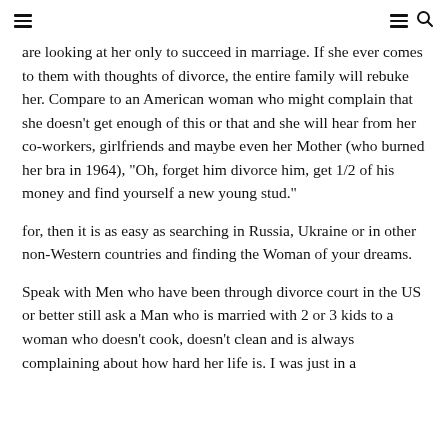[hamburger menu left] [hamburger menu right] [search icon]
are looking at her only to succeed in marriage. If she ever comes to them with thoughts of divorce, the entire family will rebuke her. Compare to an American woman who might complain that she doesn't get enough of this or that and she will hear from her co-workers, girlfriends and maybe even her Mother (who burned her bra in 1964), “Oh, forget him divorce him, get 1/2 of his money and find yourself a new young stud.”
for, then it is as easy as searching in Russia, Ukraine or in other non-Western countries and finding the Woman of your dreams.
Speak with Men who have been through divorce court in the US or better still ask a Man who is married with 2 or 3 kids to a woman who doesn’t cook, doesn’t clean and is always complaining about how hard her life is. I was just in a